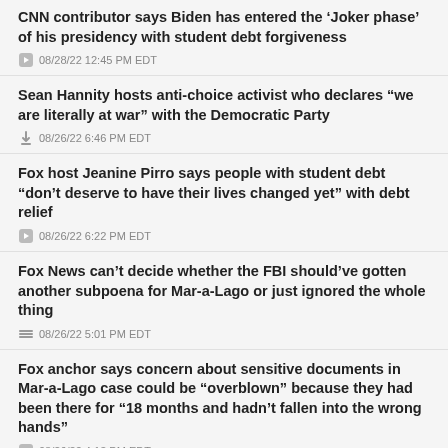CNN contributor says Biden has entered the 'Joker phase' of his presidency with student debt forgiveness
08/28/22 12:45 PM EDT
Sean Hannity hosts anti-choice activist who declares "we are literally at war" with the Democratic Party
08/26/22 6:46 PM EDT
Fox host Jeanine Pirro says people with student debt "don't deserve to have their lives changed yet" with debt relief
08/26/22 6:22 PM EDT
Fox News can't decide whether the FBI should've gotten another subpoena for Mar-a-Lago or just ignored the whole thing
08/26/22 5:01 PM EDT
Fox anchor says concern about sensitive documents in Mar-a-Lago case could be "overblown" because they had been there for "18 months and hadn't fallen into the wrong hands"
08/26/22 4:13 PM EDT